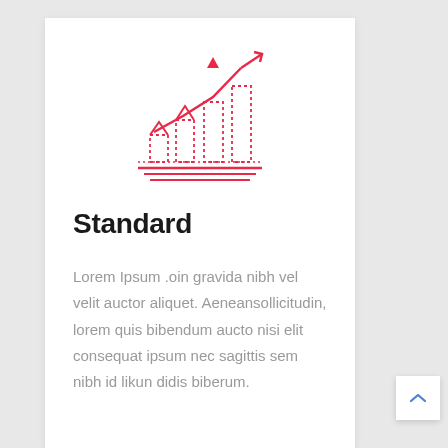[Figure (illustration): Red line icon of a bar chart with an upward trending arrow line, dotted bar outlines, and horizontal lines at the bottom forming a base. A downward-pointing triangle marker sits at the top of the trend line.]
Standard
Lorem Ipsum .oin gravida nibh vel velit auctor aliquet. Aeneansollicitudin, lorem quis bibendum aucto nisi elit consequat ipsum nec sagittis sem nibh id likun didis biberum.